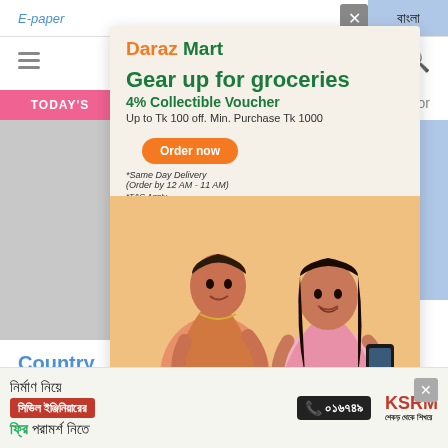E-paper | বাংলা
TODAY'S | Anthor
[Figure (infographic): Daraz Mart popup advertisement: Gear up for groceries, 4% Collectible Voucher, Up to Tk 100 off. Min. Purchase Tk 1000. Order now button. Same Day Delivery (Order by 12 AM - 11 AM). T&C Apply. Two women shopping with grocery products.]
Country
Wa...
[Figure (infographic): Bottom banner ad: নির্মাণ নিয়ে সিভিল ইঞ্জিনিয়ারের ফ্রি পরামর্শ নিতে | ০১৬৭৪৯ | KSRM - শেকড় থেকে শিখরে]